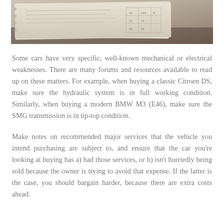[Figure (photo): Photo of a stack of old papers and documents, possibly service records or logbooks, on a dark surface.]
Some cars have very specific, well-known mechanical or electrical weaknesses. There are many forums and resources available to read up on these matters. For example, when buying a classic Citroen DS, make sure the hydraulic system is in full working condition. Similarly, when buying a modern BMW M3 (E46), make sure the SMG transmission is in tip-top condition.
Make notes on recommended major services that the vehicle you intend purchasing are subject to, and ensure that the car you're looking at buying has a) had those services, or b) isn't hurriedly being sold because the owner is trying to avoid that expense. If the latter is the case, you should bargain harder, because there are extra costs ahead.